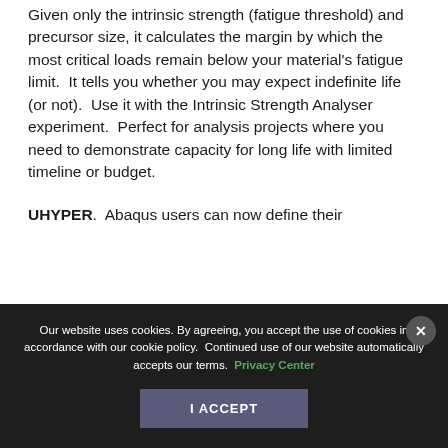Given only the intrinsic strength (fatigue threshold) and precursor size, it calculates the margin by which the most critical loads remain below your material's fatigue limit.  It tells you whether you may expect indefinite life (or not).  Use it with the Intrinsic Strength Analyser experiment.  Perfect for analysis projects where you need to demonstrate capacity for long life with limited timeline or budget.
UHYPER.  Abaqus users can now define their
Our website uses cookies. By agreeing, you accept the use of cookies in accordance with our cookie policy.  Continued use of our website automatically accepts our terms. Privacy Center